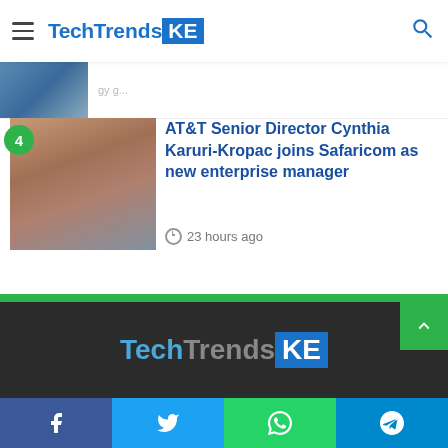TechTrendsKE
[Figure (photo): Partial view of a news article image at top]
[Figure (photo): Headshot of AT&T Senior Director Cynthia Karuri-Kropac, a woman with brown hair]
AT&T Senior Director Cynthia Karuri-Kropac joins Safaricom as new enterprise manager
23 hours ago
[Figure (logo): TechTrendsKE logo in footer dark area]
Social share buttons: Facebook, Twitter, WhatsApp, Telegram